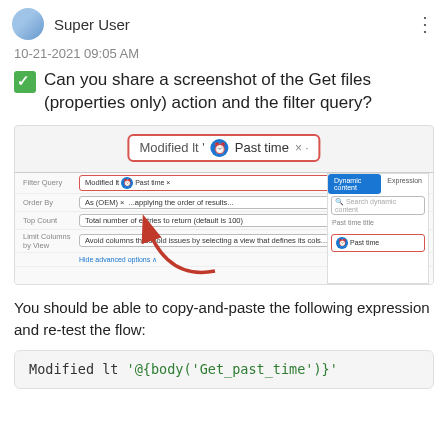Super User
10-21-2021 09:05 AM
✔ Can you share a screenshot of the Get files (properties only) action and the filter query?
[Figure (screenshot): Screenshot of a Power Automate filter query configuration showing 'Modified lt' field with 'Past time' token selected, and a Dynamic content panel on the right with 'Past time' highlighted. A red arrow points from the Dynamic content panel to the filter field.]
You should be able to copy-and-paste the following expression and re-test the flow:
Modified lt '@{body('Get_past_time')}'